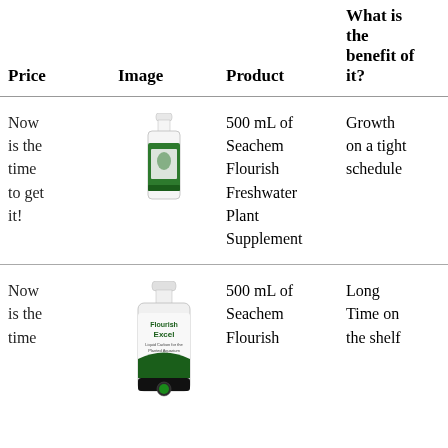| Price | Image | Product | What is the benefit of it? |
| --- | --- | --- | --- |
| Now is the time to get it! | [Seachem Flourish bottle image] | 500 mL of Seachem Flourish Freshwater Plant Supplement | Growth on a tight schedule |
| Now is the time | [Flourish Excel bottle image] | 500 mL of Seachem Flourish | Long Time on the shelf |